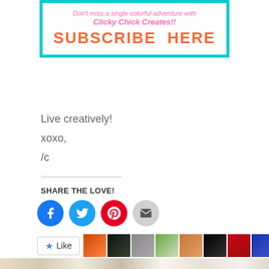[Figure (illustration): Subscribe banner for 'Clicky Chick Creates!!' with cyan border, pink italic tagline 'Don't miss a single colorful adventure with Clicky Chick Creates!!' and large orange bold 'SUBSCRIBE HERE' text]
Live creatively!
xoxo,
/c
SHARE THE LOVE!
[Figure (infographic): Row of social media share buttons: Facebook (blue), Twitter (blue), Pinterest (red), Email (gray)]
[Figure (infographic): WordPress Like button with star icon and a row of 9 small blogger avatar thumbnails]
58 bloggers like this.
[Figure (photo): Partial bottom image showing colorful decorated wooden sticks/stamps on a patterned background]